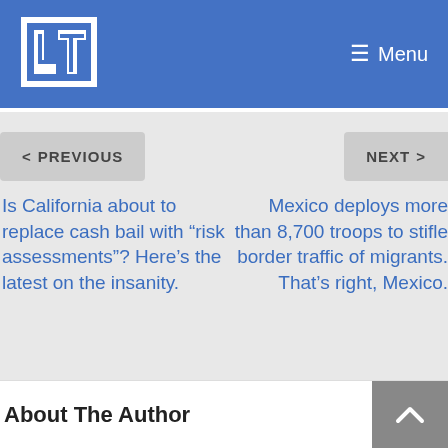LT — Menu
< PREVIOUS
NEXT >
Is California about to replace cash bail with “risk assessments”? Here’s the latest on the insanity.
Mexico deploys more than 8,700 troops to stifle border traffic of migrants. That’s right, Mexico.
About The Author